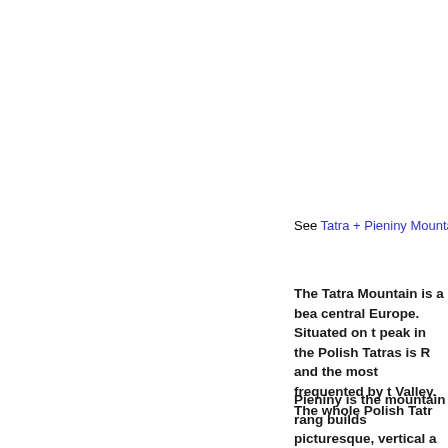See Tatra + Pieniny Mountain Tour (
The Tatra Mountain is a bea central Europe. Situated on t peak in the Polish Tatras is R and the most frequented by t Valley. The whole Polish Tatr
Pieniny is the mountain rang builds picturesque, vertical a